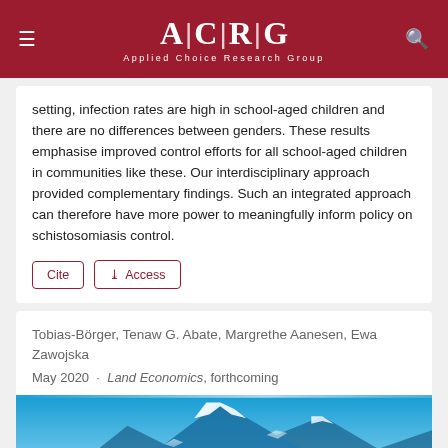ACRG Applied Choice Research Group
setting, infection rates are high in school-aged children and there are no differences between genders. These results emphasise improved control efforts for all school-aged children in communities like these. Our interdisciplinary approach provided complementary findings. Such an integrated approach can therefore have more power to meaningfully inform policy on schistosomiasis control.
Cite | Access
Tobias-Börger, Tenaw G. Abate, Margrethe Aanesen, Ewa Zawojska
May 2020 · Land Economics, forthcoming
[Figure (photo): Snow-capped mountain landscape with blue sky]